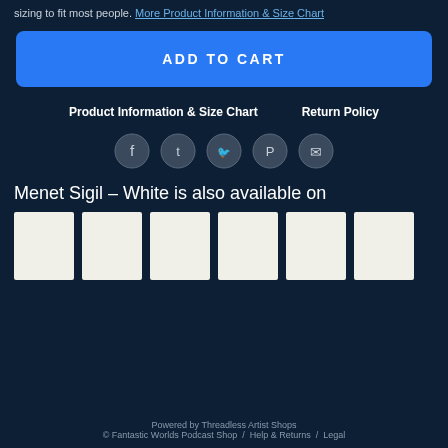sizing to fit most people. More Product Information & Size Chart
ADD TO CART
Product Information & Size Chart    Return Policy
[Figure (infographic): Row of 5 social share icons: Facebook, Tumblr, Twitter, Pinterest, Email — each a circle with icon]
Menet Sigil – White is also available on
[Figure (photo): Six white product thumbnail images in a row]
Powered by Threadless Artist Shops
© Fantastic Worlds Podcast Shop  /  Help & Returns  /  Legal